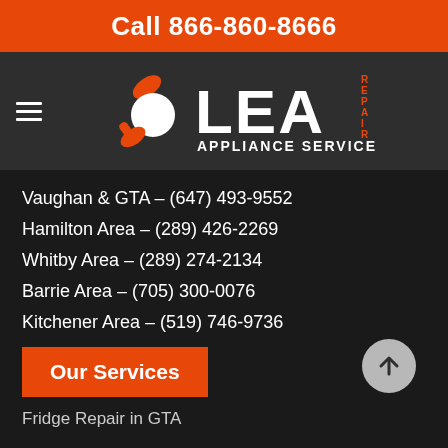Call 866-860-8666
[Figure (logo): LEA Appliance Service Repair logo with wrench and appliance icon, orange and white text on dark grey background]
Vaughan & GTA – (647) 493-9552
Hamilton Area – (289) 426-2269
Whitby Area – (289) 274-2134
Barrie Area – (705) 300-0076
Kitchener Area – (519) 746-9736
Our Services
Fridge Repair in GTA